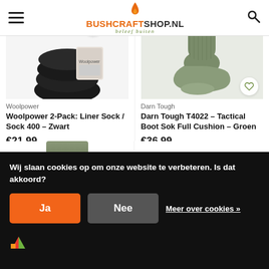BUSHCRAFTSHOP.NL - beleef buiten
[Figure (photo): Black wool socks 2-pack with Woolpower branded packaging label]
Woolpower
Woolpower 2-Pack: Liner Sock / Sock 400 - Zwart
€21,99
[Figure (photo): Olive green tactical boot sock worn on a foot, Darn Tough brand]
Darn Tough
Darn Tough T4022 - Tactical Boot Sok Full Cushion - Groen
€36,99
Wij slaan cookies op om onze website te verbeteren. Is dat akkoord?
Ja
Nee
Meer over cookies »